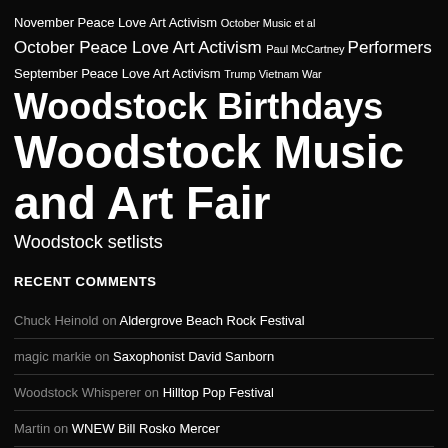November Peace Love Art Activism October Music et al October Peace Love Art Activism Paul McCartney Performers September Peace Love Art Activism Trump Vietnam War Woodstock Birthdays Woodstock Music and Art Fair Woodstock setlists
RECENT COMMENTS
Chuck Heinold on Aldergrove Beach Rock Festival
magic markie on Saxophonist David Sanborn
Woodstock Whisperer on Hilltop Pop Festival
Martin on WNEW Bill Rosko Mercer
alex santana on Trumpeter Luis Gasca